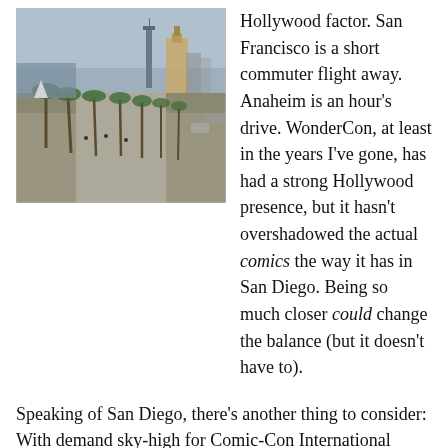[Figure (photo): Aerial/elevated view of a waterfront promenade lined with palm trees, with a tower and cranes visible in the background under an overcast sky.]
Hollywood factor. San Francisco is a short commuter flight away. Anaheim is an hour's drive. WonderCon, at least in the years I've gone, has had a strong Hollywood presence, but it hasn't overshadowed the actual comics the way it has in San Diego. Being so much closer could change the balance (but it doesn't have to).
Speaking of San Diego, there's another thing to consider: With demand sky-high for Comic-Con International tickets, Anaheim smack in the middle of Southern California, and WonderCon run by the same people, a lot of con attendees are going to aim for WonderCon as an alternative. Depending on how much of the usual Bay Area crowd decides to take to the road, this could be a more crowded event than usual.